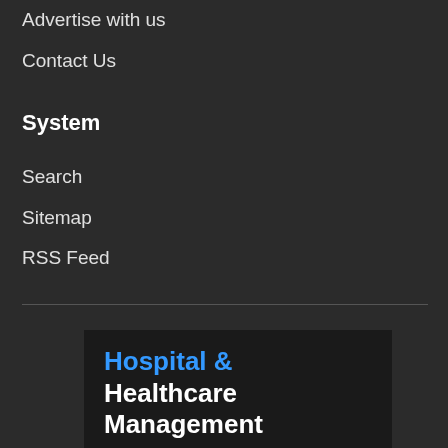Advertise with us
Contact Us
System
Search
Sitemap
RSS Feed
[Figure (illustration): Hospital & Healthcare Management logo/banner with blue and white bold text on dark background]